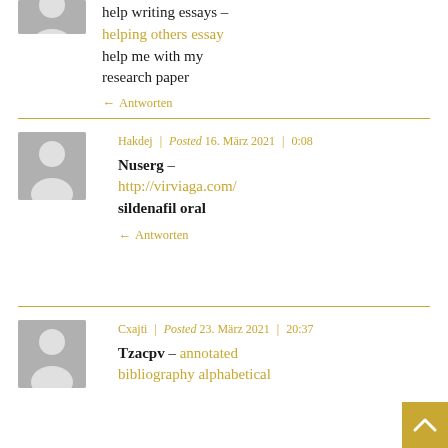help writing essays – helping others essay help me with my research paper
← Antworten
Hakdej | Posted 16. März 2021 | 0:08
Nuserg – http://virviaga.com/ sildenafil oral
← Antworten
Cxajti | Posted 23. März 2021 | 20:37
Tzacpv – annotated bibliography alphabetical